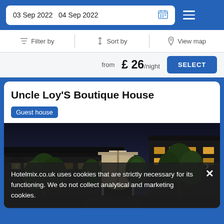03 Sep 2022  04 Sep 2022
Filter by  Sort by  View map
from £ 26/night
Uncle Loy'S Boutique House
Guest house
[Figure (photo): Night exterior photo of Uncle Loy's Boutique House showing illuminated entrance with trees and building facade]
Hotelmix.co.uk uses cookies that are strictly necessary for its functioning. We do not collect analytical and marketing cookies.